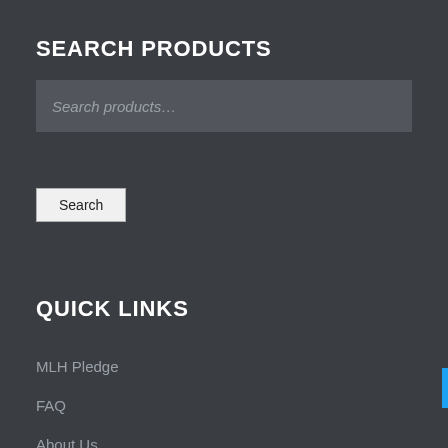SEARCH PRODUCTS
Search products...
Search
QUICK LINKS
MLH Pledge
FAQ
About Us